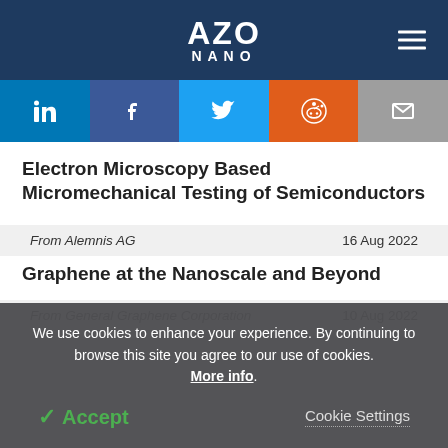AZO NANO
[Figure (other): Social sharing buttons: LinkedIn, Facebook, Twitter, Reddit, Email]
Electron Microscopy Based Micromechanical Testing of Semiconductors
From Alemnis AG   16 Aug 2022
Graphene at the Nanoscale and Beyond
From General Graphene Corporation   10 Aug 2022
We use cookies to enhance your experience. By continuing to browse this site you agree to our use of cookies. More info.
✓ Accept   Cookie Settings